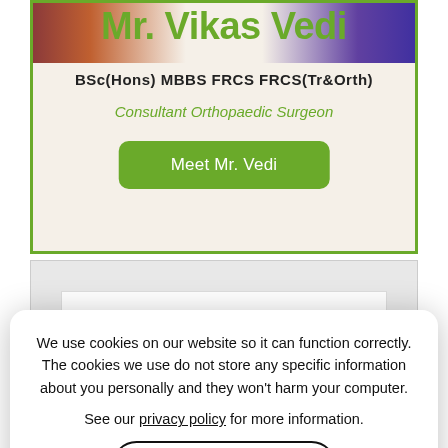Mr. Vikas Vedi
BSc(Hons) MBBS FRCS FRCS(Tr&Orth)
Consultant Orthopaedic Surgeon
Meet Mr. Vedi
[Figure (screenshot): Partially visible background section with 'Passion for' text in green]
We use cookies on our website so it can function correctly. The cookies we use do not store any specific information about you personally and they won't harm your computer.
See our privacy policy for more information.
Accept
Testimonials for Mr. Vikas Vedi